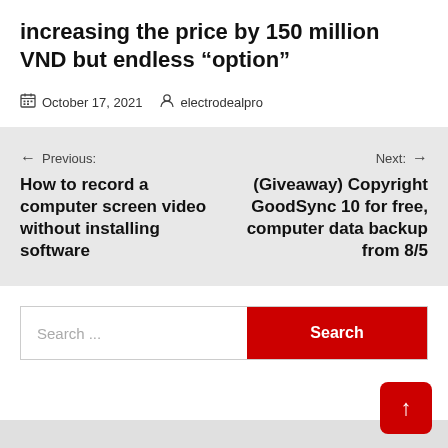increasing the price by 150 million VND but endless “option”
October 17, 2021   electrodealpro
← Previous: How to record a computer screen video without installing software
Next: → (Giveaway) Copyright GoodSync 10 for free, computer data backup from 8/5
Search ...